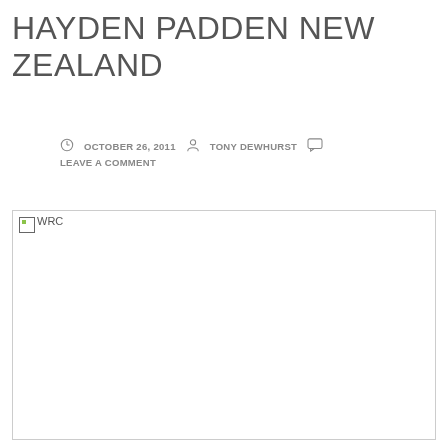HAYDEN PADDEN NEW ZEALAND
OCTOBER 26, 2011   TONY DEWHURST   LEAVE A COMMENT
[Figure (photo): Broken image placeholder labeled WRC]